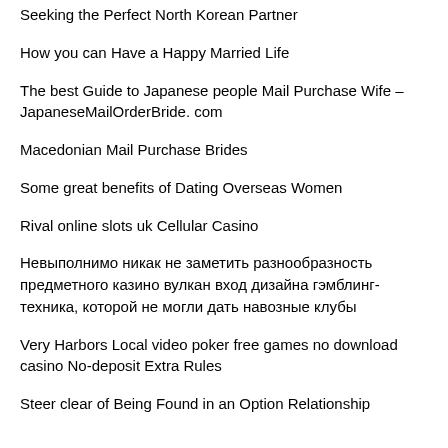Seeking the Perfect North Korean Partner
How you can Have a Happy Married Life
The best Guide to Japanese people Mail Purchase Wife – JapaneseMailOrderBride. com
Macedonian Mail Purchase Brides
Some great benefits of Dating Overseas Women
Rival online slots uk Cellular Casino
Невыполнимо никак не заметить разнообразность предметного казино вулкан вход дизайна гэмблинг-техника, которой не могли дать навозные клубы
Very Harbors Local video poker free games no download casino No-deposit Extra Rules
Steer clear of Being Found in an Option Relationship